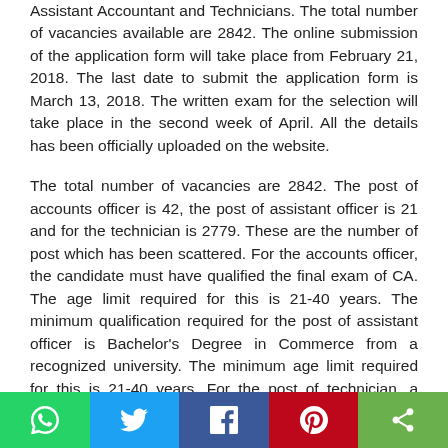Assistant Accountant and Technicians. The total number of vacancies available are 2842. The online submission of the application form will take place from February 21, 2018. The last date to submit the application form is March 13, 2018. The written exam for the selection will take place in the second week of April. All the details has been officially uploaded on the website.
The total number of vacancies are 2842. The post of accounts officer is 42, the post of assistant officer is 21 and for the technician is 2779. These are the number of post which has been scattered. For the accounts officer, the candidate must have qualified the final exam of CA. The age limit required for this is 21-40 years. The minimum qualification required for the post of assistant officer is Bachelor's Degree in Commerce from a recognized university. The minimum age limit required for this is 21-40 years. For the post of technician, a candidate must have done class 10th and must have specialization in electrician